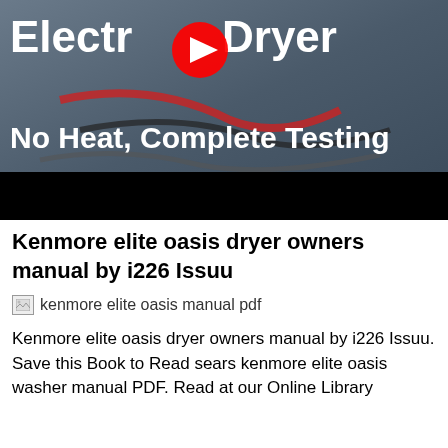[Figure (screenshot): YouTube video thumbnail showing an electric dryer with wires, titled 'Electric Dryer No Heat, Complete Testing' with a YouTube play button overlay and a black bottom bar.]
Kenmore elite oasis dryer owners manual by i226 Issuu
[Figure (photo): Broken image placeholder with alt text: kenmore elite oasis manual pdf]
Kenmore elite oasis dryer owners manual by i226 Issuu. Save this Book to Read sears kenmore elite oasis washer manual PDF. Read at our Online Library